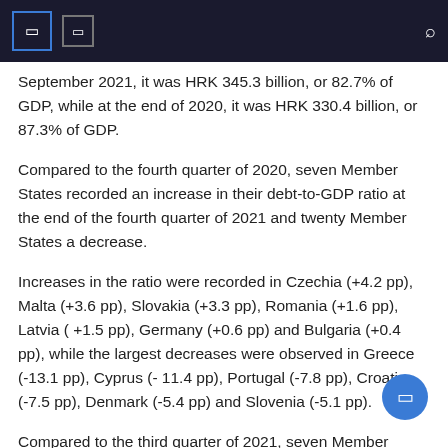September 2021, it was HRK 345.3 billion, or 82.7% of GDP, while at the end of 2020, it was HRK 330.4 billion, or 87.3% of GDP.
Compared to the fourth quarter of 2020, seven Member States recorded an increase in their debt-to-GDP ratio at the end of the fourth quarter of 2021 and twenty Member States a decrease.
Increases in the ratio were recorded in Czechia (+4.2 pp), Malta (+3.6 pp), Slovakia (+3.3 pp), Romania (+1.6 pp), Latvia ( +1.5 pp), Germany (+0.6 pp) and Bulgaria (+0.4 pp), while the largest decreases were observed in Greece (-13.1 pp), Cyprus (- 11.4 pp), Portugal (-7.8 pp), Croatia (-7.5 pp), Denmark (-5.4 pp) and Slovenia (-5.1 pp).
Compared to the third quarter of 2021, seven Member States